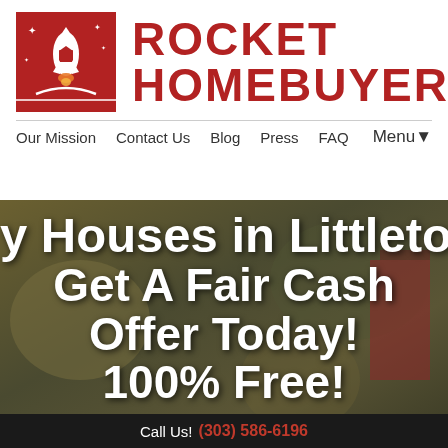[Figure (logo): Rocket Homebuyers logo: red square with white rocket and stars icon, next to bold red text ROCKET HOMEBUYERS]
Our Mission   Contact Us   Blog   Press   FAQ   Menu▼
y Houses in Littleto Get A Fair Cash Offer Today! 100% Free!
Call Us! (303) 586-6196